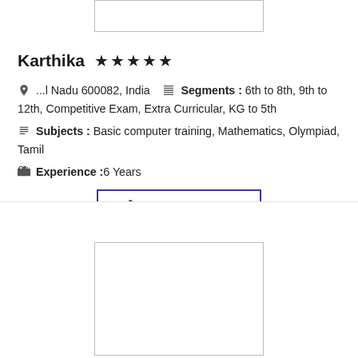[Figure (other): Top photo placeholder box (partially visible at top)]
Karthika ★★★★★
📍 ...l Nadu 600082, India   📋 Segments : 6th to 8th, 9th to 12th, Competitive Exam, Extra Curricular, KG to 5th
📋 Subjects : Basic computer training, Mathematics, Olympiad, Tamil
💼 Experience :6 Years
📞 Contact Now
[Figure (photo): Bottom photo placeholder box (partially visible at bottom)]